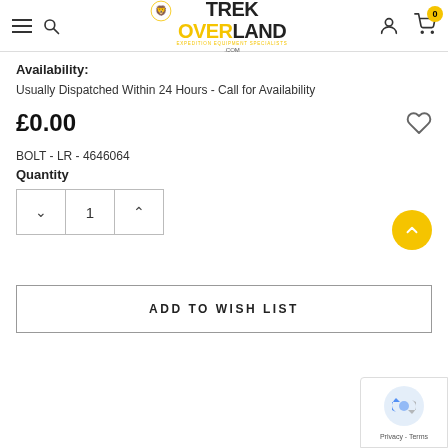[Figure (logo): Trek Overland logo with lion head icon, yellow and black text, tagline 'EXPEDITION EQUIPMENT SPECIALISTS .COM']
Availability:
Usually Dispatched Within 24 Hours - Call for Availability
£0.00
BOLT - LR - 4646064
Quantity
1
ADD TO WISH LIST